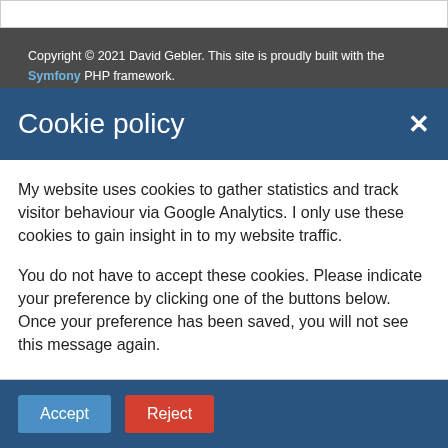Copyright © 2021 David Gebler. This site is proudly built with the Symfony PHP framework. The underlying database uses my very own DocLite, a PHP NoSQL database built on top of SQLite.
Cookie policy
My website uses cookies to gather statistics and track visitor behaviour via Google Analytics. I only use these cookies to gain insight in to my website traffic.
You do not have to accept these cookies. Please indicate your preference by clicking one of the buttons below. Once your preference has been saved, you will not see this message again.